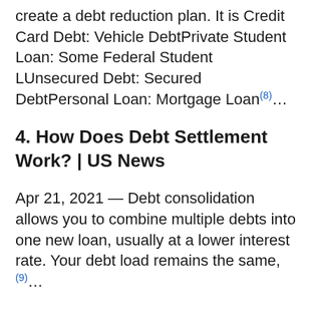create a debt reduction plan. It is Credit Card Debt: Vehicle DebtPrivate Student Loan: Some Federal Student LUnsecured Debt: Secured DebtPersonal Loan: Mortgage Loan(8)…
4. How Does Debt Settlement Work? | US News
Apr 21, 2021 — Debt consolidation allows you to combine multiple debts into one new loan, usually at a lower interest rate. Your debt load remains the same, (9)…